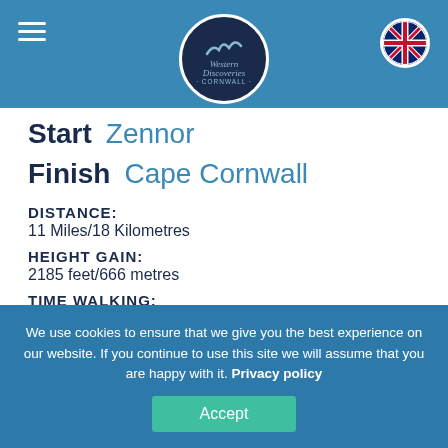Western Discoveries Cornwall (logo)
Start  Zennor
Finish  Cape Cornwall
DISTANCE:
11 Miles/18 Kilometres
HEIGHT GAIN:
2185 feet/666 metres
TIME WALKING:
5 hours 45 minutes excluding breaks
DIFFICULTY:
We use cookies to ensure that we give you the best experience on our website. If you continue to use this site we will assume that you are happy with it. Privacy policy
Accept